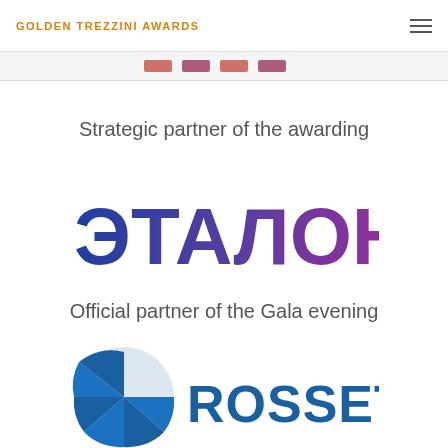GOLDEN TREZZINI AWARDS
[Figure (logo): Partial logo images at top strip]
Strategic partner of the awarding
[Figure (logo): ETALON (ЭТАЛОН) logo — text in blue to purple gradient, Cyrillic letters ЭТАЛОН in large bold font]
Official partner of the Gala evening
[Figure (logo): ROSSETI logo — blue circular fan/globe icon on the left, blue bold text ROSSETI on the right, partially visible at bottom]